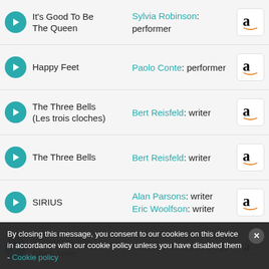It's Good To Be The Queen — Sylvia Robinson: performer
Happy Feet — Paolo Conte: performer
The Three Bells (Les trois cloches) — Bert Reisfeld: writer
The Three Bells — Bert Reisfeld: writer
SIRIUS — Alan Parsons: writer, Eric Woolfson: writer
Supermassive Black Hole — Matthew Bellamy: writer
There Will Never Be Another You — Modern Jazz Quartet: performer
La Paloma — performer
By closing this message, you consent to our cookies on this device in accordance with our cookie policy unless you have disabled them - Cookie policy